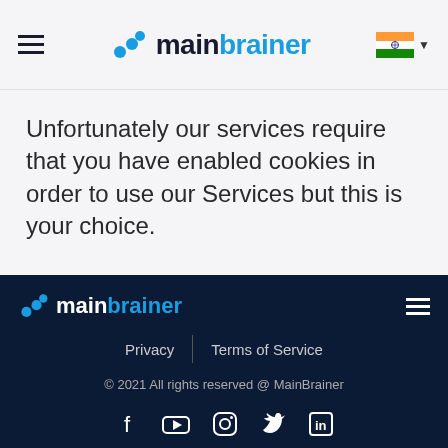[Figure (logo): mainbrainer logo with hamburger menu icon on the left and Indian flag with dropdown on the right in the header navigation bar]
Unfortunately our services require that you have enabled cookies in order to use our Services but this is your choice.
[Figure (logo): mainbrainer footer logo with hamburger menu icon on the right, on dark navy background]
Privacy | Terms of Service
© 2021 All rights reserved @ MainBrainer
[Figure (other): Social media icons: Facebook, YouTube, Instagram, Twitter, LinkedIn]